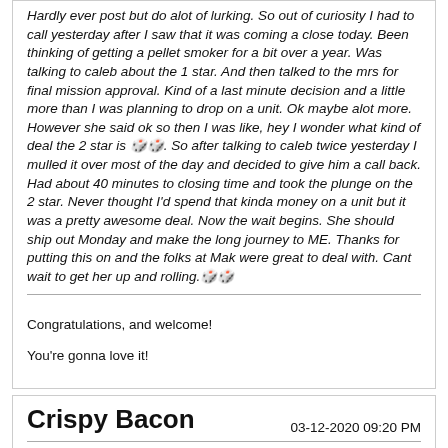Hardly ever post but do alot of lurking. So out of curiosity I had to call yesterday after I saw that it was coming a close today. Been thinking of getting a pellet smoker for a bit over a year. Was talking to caleb about the 1 star. And then talked to the mrs for final mission approval. Kind of a last minute decision and a little more than I was planning to drop on a unit. Ok maybe alot more. However she said ok so then I was like, hey I wonder what kind of deal the 2 star is 🔥🔥. So after talking to caleb twice yesterday I mulled it over most of the day and decided to give him a call back. Had about 40 minutes to closing time and took the plunge on the 2 star. Never thought I'd spend that kinda money on a unit but it was a pretty awesome deal. Now the wait begins. She should ship out Monday and make the long journey to ME. Thanks for putting this on and the folks at Mak were great to deal with. Cant wait to get her up and rolling.🔥🔥
Congratulations, and welcome!
You're gonna love it!
Crispy Bacon
03-12-2020 09:20 PM
I would like to personally thank MAK for this opportunity! A big thanks to Rob for helping me out with this thread. I'm mostly a lurker & don't post much. So when I started this thread, I didn't know what to expect. It blew up! Totally exceeded my expectations. So happy that this